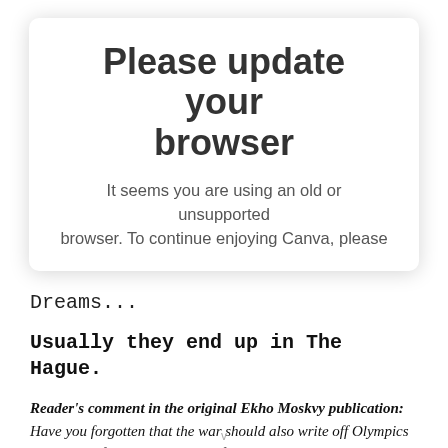Please update your browser
It seems you are using an old or unsupported browser. To continue enjoying Canva, please
Dreams...
Usually they end up in The Hague.
Reader's comment in the original Ekho Moskvy publication: Have you forgotten that the war should also write off Olympics in Sochi thefts, corruption, and fair-à-la-Putin elections? And destroyed Russian economy. And reducing the budget for science, education and medicine. An increase in the retirement age. For theirs yachts, palaces,
v